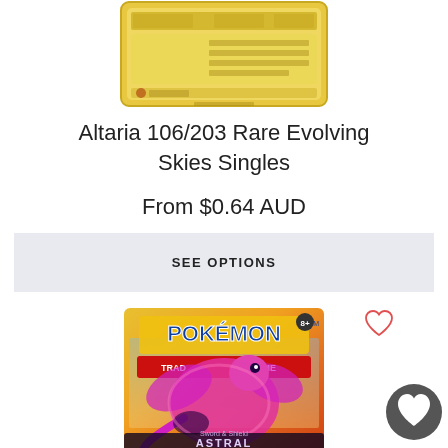[Figure (photo): Altaria Pokemon card with gold border, card number 106/203, from Evolving Skies set]
Altaria 106/203 Rare Evolving Skies Singles
From $0.64 AUD
SEE OPTIONS
[Figure (photo): Pokemon Trading Card Game Sword & Shield Astral Radiance booster pack featuring a pink dragon-like Pokemon]